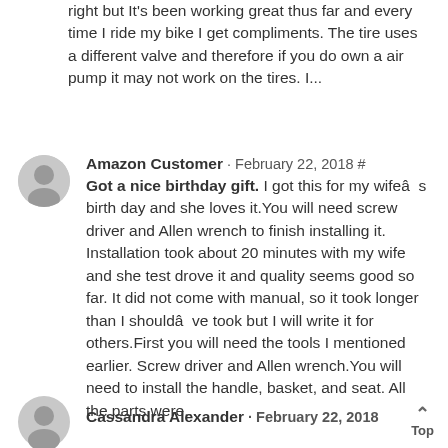right but It’s been working great thus far and every time I ride my bike I get compliments. The tire uses a different valve and therefore if you do own a air pump it may not work on the tires. I...
Amazon Customer · February 22, 2018 # Got a nice birthday gift. I got this for my wifeâs birth day and she loves it.You will need screw driver and Allen wrench to finish installing it. Installation took about 20 minutes with my wife and she test drove it and quality seems good so far. It did not come with manual, so it took longer than I shouldâve took but I will write it for others.First you will need the tools I mentioned earlier. Screw driver and Allen wrench.You will need to install the handle, basket, and seat. All the parts were...
Cassandra Alexander · February 22, 2018